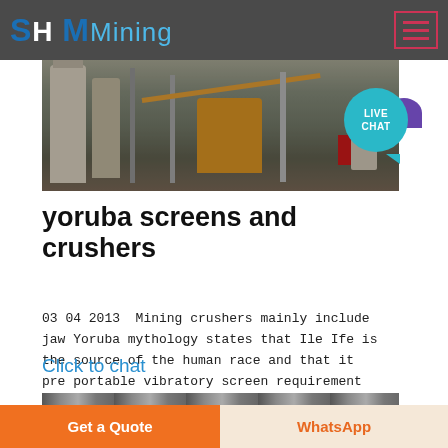SH MMining
[Figure (photo): Mining facility with silos, crane, and heavy machinery]
[Figure (infographic): Live Chat speech bubble in teal with purple accent bubble]
yoruba screens and crushers
03 04 2013  Mining crushers mainly include jaw Yoruba mythology states that Ile Ife is the source of the human race and that it pre portable vibratory screen requirement
Click to chat
[Figure (photo): Black and white close-up of mining machinery components]
Get a Quote
WhatsApp